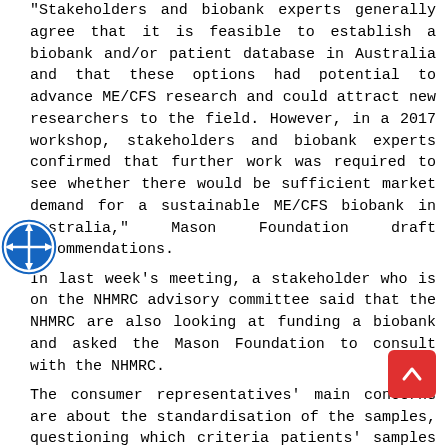"Stakeholders and biobank experts generally agree that it is feasible to establish a biobank and/or patient database in Australia and that these options had potential to advance ME/CFS research and could attract new researchers to the field. However, in a 2017 workshop, stakeholders and biobank experts confirmed that further work was required to see whether there would be sufficient market demand for a sustainable ME/CFS biobank in Australia," Mason Foundation draft recommendations.
In last week's meeting, a stakeholder who is on the NHMRC advisory committee said that the NHMRC are also looking at funding a biobank and asked the Mason Foundation to consult with the NHMRC.
The consumer representatives' main concerns are about the standardisation of the samples, questioning which criteria patients' samples must meet.
Researchers and consumer representatives raised questions about the details, for example, where would a biobank be located, how would samples be distributed; what outcomes would be expected (as